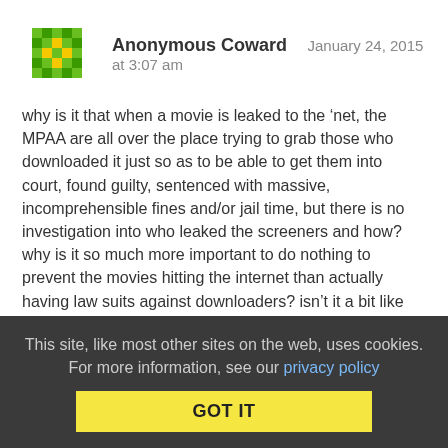[Figure (illustration): Green pixel/mosaic avatar icon for Anonymous Coward user]
Anonymous Coward   January 24, 2015 at 3:07 am
why is it that when a movie is leaked to the ‘net, the MPAA are all over the place trying to grab those who downloaded it just so as to be able to get them into court, found guilty, sentenced with massive, incomprehensible fines and/or jail time, but there is no investigation into who leaked the screeners and how? why is it so much more important to do nothing to prevent the movies hitting the internet than actually having law suits against downloaders? isn’t it a bit like ‘bait and trap’? is that actually legal? how are they allowed to do this?
Collapse replies (7) | Reply | View in chronology
This site, like most other sites on the web, uses cookies. For more information, see our privacy policy
GOT IT